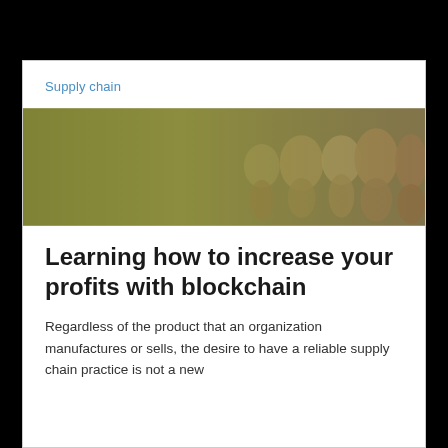Supply chain
[Figure (photo): A group of people standing together, viewed with a green/olive tinted overlay, in what appears to be an indoor setting.]
Learning how to increase your profits with blockchain
Regardless of the product that an organization manufactures or sells, the desire to have a reliable supply chain practice is not a new